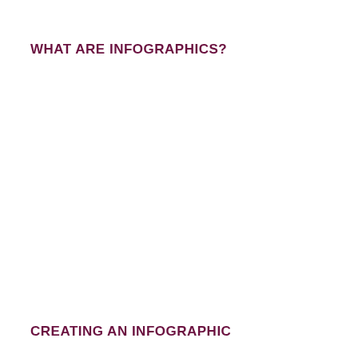WHAT ARE INFOGRAPHICS?
CREATING AN INFOGRAPHIC